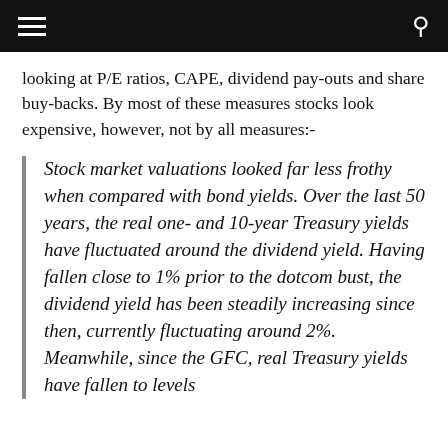looking at P/E ratios, CAPE, dividend pay-outs and share buy-backs. By most of these measures stocks look expensive, however, not by all measures:-
Stock market valuations looked far less frothy when compared with bond yields. Over the last 50 years, the real one- and 10-year Treasury yields have fluctuated around the dividend yield. Having fallen close to 1% prior to the dotcom bust, the dividend yield has been steadily increasing since then, currently fluctuating around 2%. Meanwhile, since the GFC, real Treasury yields have fallen to levels